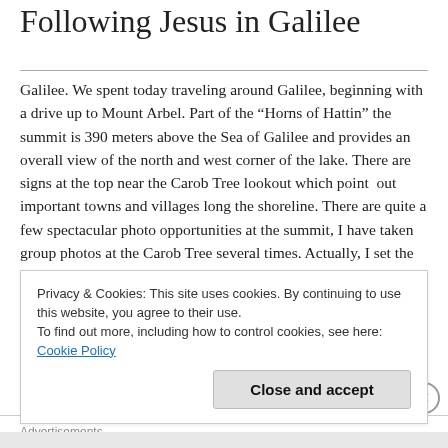Following Jesus in Galilee
Galilee.  We spent today traveling around Galilee, beginning with a drive up to Mount Arbel.  Part of the “Horns of Hattin” the summit is 390 meters above the Sea of Galilee and provides an overall view of the north and west corner of the lake.  There are signs at the top near the Carob Tree lookout which point  out important towns and villages long the shoreline. There are quite a few spectacular photo opportunities at the summit, I have taken group photos at the Carob Tree several times.  Actually, I set the all time record for
Privacy & Cookies: This site uses cookies. By continuing to use this website, you agree to their use.
To find out more, including how to control cookies, see here: Cookie Policy
grove
Advertisements